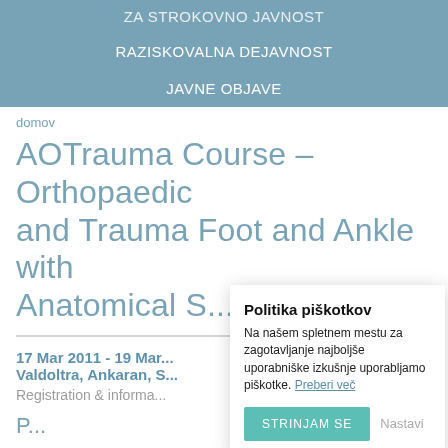ZA STROKOVNO JAVNOST
RAZISKOVALNA DEJAVNOST
JAVNE OBJAVE
domov
AOTrauma Course – Orthopaedic and Trauma Foot and Ankle with Anatomical S...
17 Mar 2011 - 19 Mar... Valdoltra, Ankaran, S...
Registration & informa...
[Figure (screenshot): Cookie consent modal dialog with title 'Politika piškotkov', body text about cookies, 'STRINJAM SE' accept button and 'Nastavi' settings link]
P...